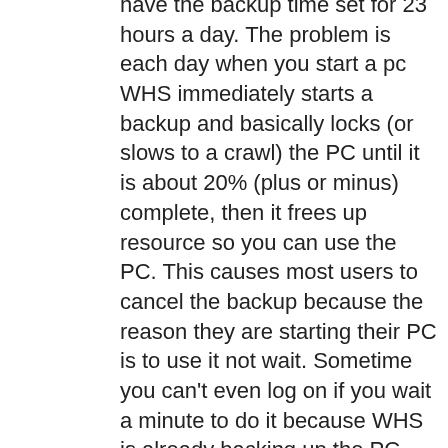have the backup time set for 23 hours a day. The problem is each day when you start a pc WHS immediately starts a backup and basically locks (or slows to a crawl) the PC until it is about 20% (plus or minus) complete, then it frees up resource so you can use the PC. This causes most users to cancel the backup because the reason they are starting their PC is to use it not wait. Sometime you can't even log on if you wait a minute to do it because WHS is already backing up the PC.   Is there any way to control this, it would be real nice if it could wait until the PC is inactive.   Or better yet let me control the backup cycle, I would like to back them up maybe once a week or every 2-3 days, or pop up a window on the users PC and let them select when to do it each day (like click me when ready).   I have had to train them to start a manual backup sometime after they cancel the automatic one but my server is yellow many times because of cancelled backups.
Thanks in advance, Any assistance